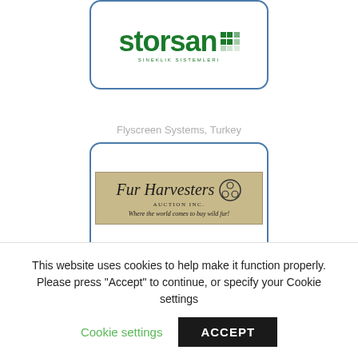[Figure (logo): Storsan logo with green wordmark and grid icon, Flyscreen Systems Turkey]
Flyscreen Systems, Turkey
[Figure (logo): Fur Harvesters Auction Inc logo on tan background with fur-ball emblem, Where the world comes to buy wild fur!]
Fur Harvesters, Canada
[Figure (photo): Dark colored reels/spools with green accents, partially visible]
This website uses cookies to help make it function properly. Please press "Accept" to continue, or specify your Cookie settings
Cookie settings
ACCEPT